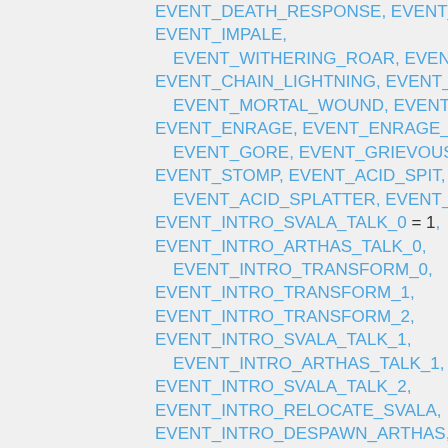EVENT_DEATH_RESPONSE, EVENT_ARCING_ EVENT_IMPALE,   EVENT_WITHERING_ROAR, EVENT_CRAZED EVENT_CHAIN_LIGHTNING, EVENT_TERRIFYI   EVENT_MORTAL_WOUND, EVENT_MORTAL_ EVENT_ENRAGE, EVENT_ENRAGE_2,   EVENT_GORE, EVENT_GRIEVOUS_WOUND, EVENT_STOMP, EVENT_ACID_SPIT,   EVENT_ACID_SPLATTER, EVENT_POISON_B EVENT_INTRO_SVALA_TALK_0 = 1, EVENT_INTRO_ARTHAS_TALK_0,   EVENT_INTRO_TRANSFORM_0, EVENT_INTRO_TRANSFORM_1, EVENT_INTRO_TRANSFORM_2, EVENT_INTRO_SVALA_TALK_1,   EVENT_INTRO_ARTHAS_TALK_1, EVENT_INTRO_SVALA_TALK_2, EVENT_INTRO_RELOCATE_SVALA, EVENT_INTRO_DESPAWN_ARTHAS,   EVENT_SINISTER_STRIKE, EVENT_CALL_FL EVENT_RITUAL_PREPARATION,